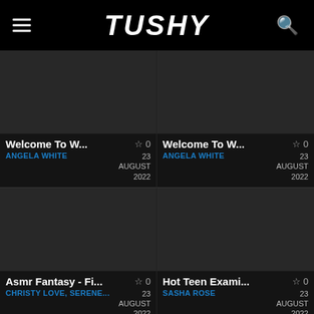TUSHY
[Figure (screenshot): Dark thumbnail placeholder for video card 1]
Welcome To W... ☆ 0
ANGELA WHITE  23 AUGUST 2022
[Figure (screenshot): Dark thumbnail placeholder for video card 2]
Welcome To W... ☆ 0
ANGELA WHITE  23 AUGUST 2022
[Figure (screenshot): Dark thumbnail placeholder for video card 3]
Asmr Fantasy - Fi... ☆ 0
CHRISTY LOVE, SERENE...  23 AUGUST 2022
[Figure (screenshot): Dark thumbnail placeholder for video card 4]
Hot Teen Exami... ☆ 0
SASHA ROSE  23 AUGUST 2022